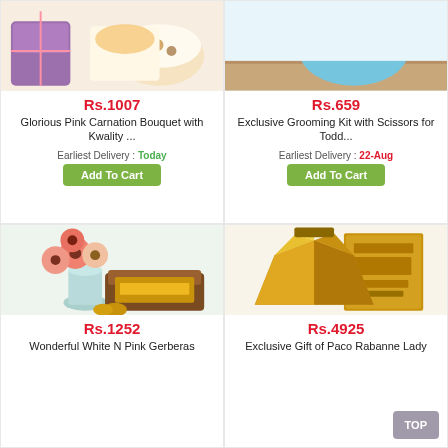[Figure (photo): Top-left product: Glorious Pink Carnation Bouquet with Kwality gift items, partial image visible at top]
Rs.1007
Glorious Pink Carnation Bouquet with Kwality ...
Earliest Delivery : Today
Add To Cart
[Figure (photo): Top-right product: Exclusive Grooming Kit with Scissors for Todd, showing blue bowl/container on wooden surface]
Rs.659
Exclusive Grooming Kit with Scissors for Todd...
Earliest Delivery : 22-Aug
Add To Cart
[Figure (photo): Bottom-left product: Wonderful White N Pink Gerberas with Ferrero Rocher Moments chocolates in vase]
Rs.1252
Wonderful White N Pink Gerberas
[Figure (photo): Bottom-right product: Exclusive Gift of Paco Rabanne Lady Million perfume in gold geometric bottle with gold box]
Rs.4925
Exclusive Gift of Paco Rabanne Lady
TOP